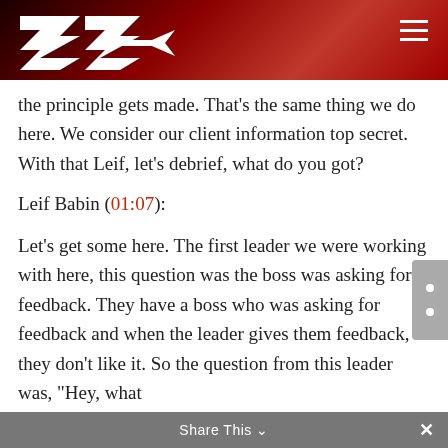[Figure (logo): EE arrow logo in white on dark red/black gradient banner header]
the principle gets made. That's the same thing we do here. We consider our client information top secret. With that Leif, let's debrief, what do you got?
Leif Babin (01:07):
Let's get some here. The first leader we were working with here, this question was the boss was asking for feedback. They have a boss who was asking for feedback and when the leader gives them feedback, they don't like it. So the question from this leader was, "Hey, what
Share This